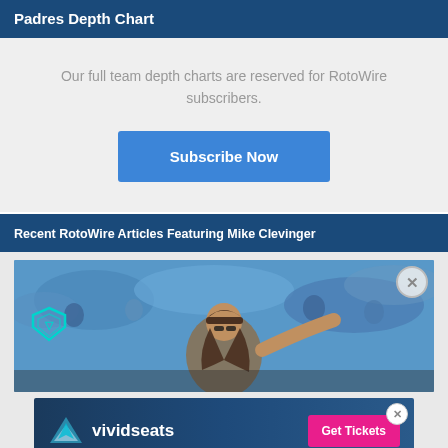Padres Depth Chart
Our full team depth charts are reserved for RotoWire subscribers.
Subscribe Now
Recent RotoWire Articles Featuring Mike Clevinger
[Figure (photo): Baseball pitcher in mid-throw motion, wearing Padres uniform with brown cap and long hair, crowd in background]
[Figure (infographic): Vivid Seats advertisement banner with pink Get Tickets button]
Closer Encounters: Hader Saves His Season?...